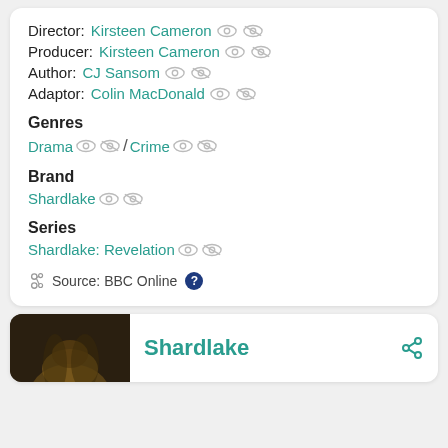Director: Kirsteen Cameron
Producer: Kirsteen Cameron
Author: CJ Sansom
Adaptor: Colin MacDonald
Genres
Drama / Crime
Brand
Shardlake
Series
Shardlake: Revelation
Source: BBC Online
[Figure (photo): Dark photo thumbnail showing a person, part of a card for Shardlake]
Shardlake